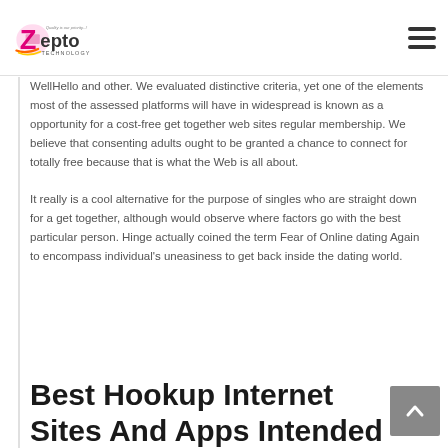Zepto Technology — Quality is our priority...!
WellHello and other. We evaluated distinctive criteria, yet one of the elements most of the assessed platforms will have in widespread is known as a opportunity for a cost-free get together web sites regular membership. We believe that consenting adults ought to be granted a chance to connect for totally free because that is what the Web is all about.
It really is a cool alternative for the purpose of singles who are straight down for a get together, although would observe where factors go with the best particular person. Hinge actually coined the term Fear of Online dating Again to encompass individual's uneasiness to get back inside the dating world.
Best Hookup Internet Sites And Apps Intended